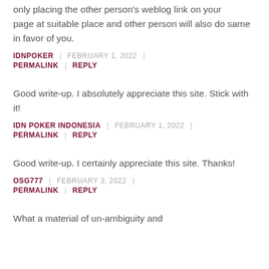only placing the other person's weblog link on your page at suitable place and other person will also do same in favor of you.
IDNPOKER | FEBRUARY 1, 2022 |
PERMALINK | REPLY
Good write-up. I absolutely appreciate this site. Stick with it!
IDN POKER INDONESIA | FEBRUARY 1, 2022 |
PERMALINK | REPLY
Good write-up. I certainly appreciate this site. Thanks!
OSG777 | FEBRUARY 3, 2022 |
PERMALINK | REPLY
What a material of un-ambiguity and